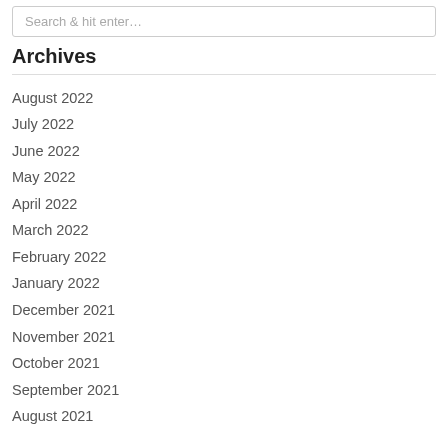Search & hit enter…
Archives
August 2022
July 2022
June 2022
May 2022
April 2022
March 2022
February 2022
January 2022
December 2021
November 2021
October 2021
September 2021
August 2021